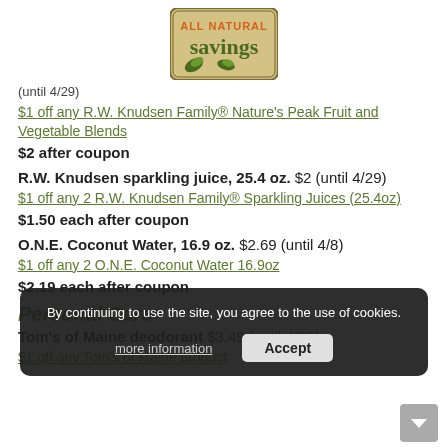[Figure (logo): All Natural Savings logo — tan background with green and orange text and leaf graphics]
(until 4/29)
$1 off any R.W. Knudsen Family® Nature's Peak Fruit and Vegetable Blends
$2 after coupon
R.W. Knudsen sparkling juice, 25.4 oz. $2 (until 4/29)
$1 off any 2 R.W. Knudsen Family® Sparkling Juices (25.4oz)
$1.50 each after coupon
O.N.E. Coconut Water, 16.9 oz. $2.69 (until 4/8)
$1 off any 2 O.N.E. Coconut Water 16.9oz
$2.19 each after coupon
Personal Care
Tom's of Maine deodorant $3.49 (until 4/29)
$1 off any Tom's of Maine product
By continuing to use the site, you agree to the use of cookies.
more information
Accept